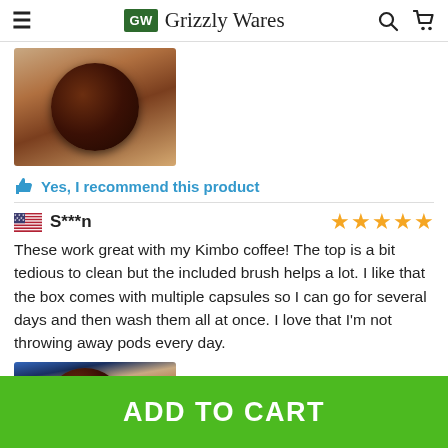Grizzly Wares
[Figure (photo): Close-up photo of a round dark brown coffee capsule on a light wooden surface, partially cropped]
Yes, I recommend this product
S***n — 4 stars
These work great with my Kimbo coffee! The top is a bit tedious to clean but the included brush helps a lot. I like that the box comes with multiple capsules so I can go for several days and then wash them all at once. I love that I'm not throwing away pods every day.
[Figure (photo): Partially cropped photo of coffee capsule packaging with a brown round capsule visible]
ADD TO CART